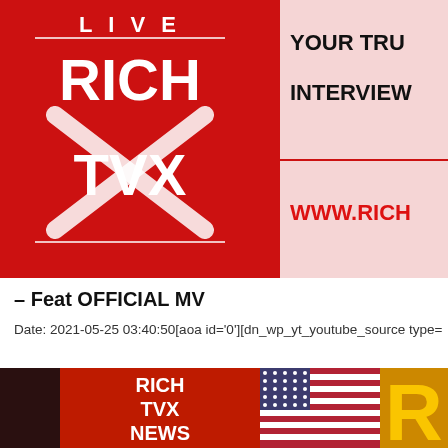[Figure (screenshot): Rich TVX Live news broadcast screenshot showing RICH TVX logo on red background with text 'YOUR TRUSTED INTERVIEWS' and 'WWW.RICH...' partially visible]
– Feat OFFICIAL MV
Date: 2021-05-25 03:40:50[aoa id='0'][dn_wp_yt_youtube_source type=
[Figure (screenshot): Rich TVX News broadcast screenshot showing RICH TVX NEWS logo on red/dark background with American flag graphic and partial yellow letter R]